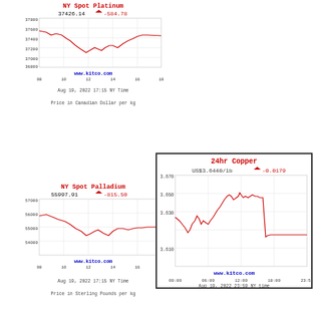[Figure (continuous-plot): NY Spot Platinum chart showing price ~37426.14 CAD/kg, change -584.78, from 08 to 18 hours on Aug 19 2022]
Aug 19, 2022 17:15 NY Time
Price in Canadian Dollar per kg
[Figure (continuous-plot): NY Spot Palladium chart showing price ~55997.91 GBP/kg, change -815.50, from 08 to 18 hours on Aug 19 2022]
Aug 19, 2022 17:15 NY Time
Price in Sterling Pounds per kg
[Figure (continuous-plot): 24hr Copper chart showing price US$3.6440/lb, change -0.0179, from 00:00 to 23:58 on Aug 19 2022]